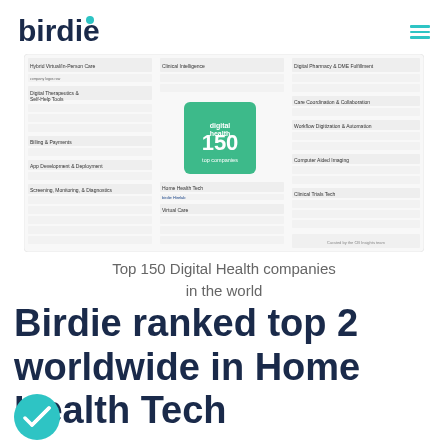birdie
[Figure (infographic): Top 150 Digital Health companies infographic showing categories including Hybrid Virtual/In-Person Care, Clinical Intelligence, Digital Pharmacy & DME Fulfillment, Digital Therapeutics & Self-Help Tools, Care Coordination & Collaboration, Workflow Digitization & Automation, Billing & Payments, Computer Aided Imaging, App Development & Deployment, Home Health Tech, Clinical Trials Tech, Screening Monitoring & Diagnostics, Virtual Care. Center badge shows 150.]
Top 150 Digital Health companies in the world
Birdie ranked top 2 worldwide in Home Health Tech